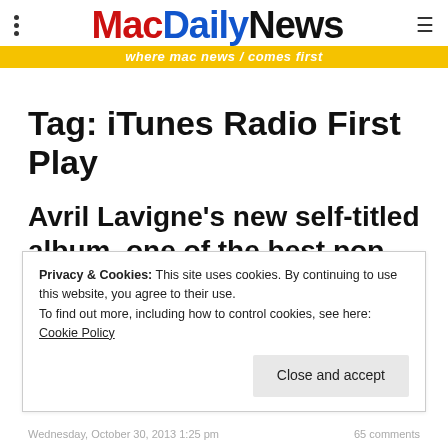MacDailyNews — where mac news comes first
Tag: iTunes Radio First Play
Avril Lavigne's new self-titled album, one of the best pop
Privacy & Cookies: This site uses cookies. By continuing to use this website, you agree to their use. To find out more, including how to control cookies, see here: Cookie Policy
Close and accept
Wednesday, October 30, 2013 1:25 pm   65 comments